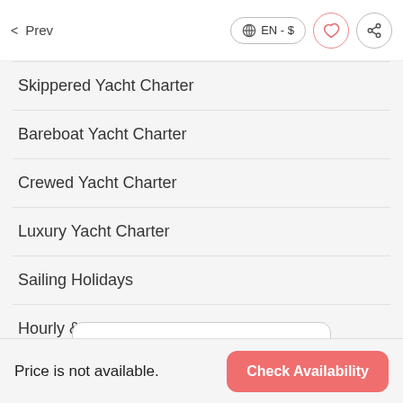< Prev  EN - $
Skippered Yacht Charter
Bareboat Yacht Charter
Crewed Yacht Charter
Luxury Yacht Charter
Sailing Holidays
Hourly & Daily Yacht Charter
All Options
[Figure (logo): ∞ knot logo with text 'Boat owner admin panel' inside a rounded rectangle button]
Price is not available.  Check Availability